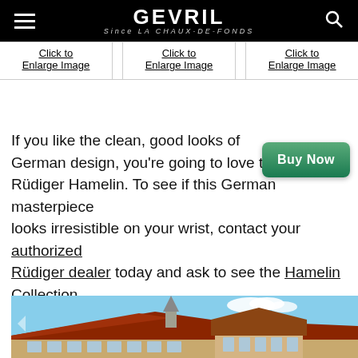GEVRIL · LA CHAUX-DE-FONDS
| Click to
Enlarge Image |  | Click to
Enlarge Image |  | Click to
Enlarge Image |
If you like the clean, good looks of German design, you're going to love the Rüdiger Hamelin. To see if this German masterpiece looks irresistible on your wrist, contact your authorized Rüdiger dealer today and ask to see the Hamelin Collection.
[Figure (other): Buy Now button - green rounded rectangle with white bold text]
[Figure (photo): Photograph of German architecture - historic buildings with red tile roofs and ornate facades against a blue sky with clouds]